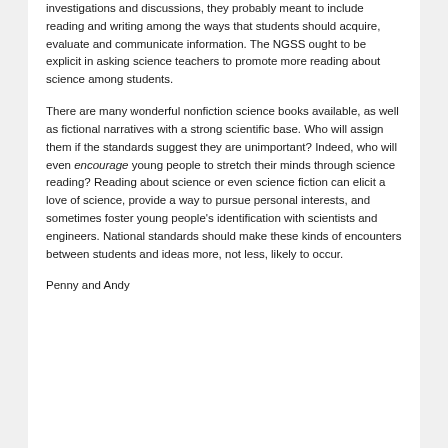investigations and discussions, they probably meant to include reading and writing among the ways that students should acquire, evaluate and communicate information. The NGSS ought to be explicit in asking science teachers to promote more reading about science among students.
There are many wonderful nonfiction science books available, as well as fictional narratives with a strong scientific base. Who will assign them if the standards suggest they are unimportant? Indeed, who will even encourage young people to stretch their minds through science reading? Reading about science or even science fiction can elicit a love of science, provide a way to pursue personal interests, and sometimes foster young people's identification with scientists and engineers. National standards should make these kinds of encounters between students and ideas more, not less, likely to occur.
Penny and Andy